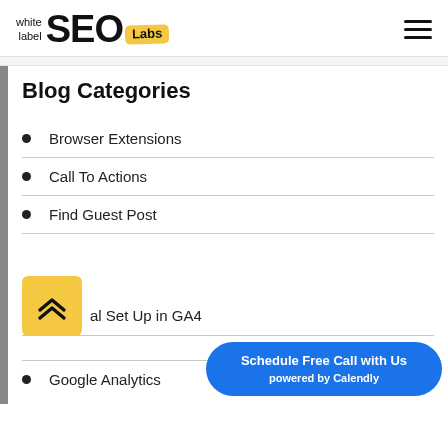[Figure (logo): White Label SEO Labs logo with yellow badge]
Blog Categories
Browser Extensions
Call To Actions
Find Guest Post
al Set Up in GA4
Google Analytics
[Figure (other): Yellow scroll-to-top button with double chevron up icon]
[Figure (other): Blue Schedule Free Call with Us powered by Calendly button]